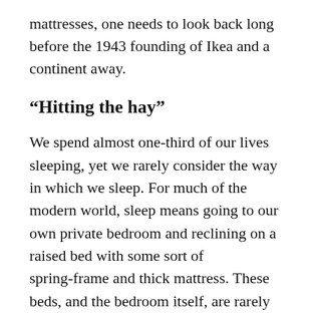mattresses, one needs to look back long before the 1943 founding of Ikea and a continent away.
“Hitting the hay”
We spend almost one-third of our lives sleeping, yet we rarely consider the way in which we sleep. For much of the modern world, sleep means going to our own private bedroom and reclining on a raised bed with some sort of spring-frame and thick mattress. These beds, and the bedroom itself, are rarely used during the remainder of the day. This is not how people slept or lived during much of human history.